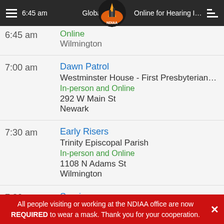6:45 am  Global S[NDIAA logo]  Online for Hearing Impaired
6:45 am | Online | Wilmington
7:00 am | Dawn Patrol | Westminster House - First Presbyterian Church | In-person and Online | 292 W Main St | Newark
7:30 am | Early Risers | Trinity Episcopal Parish | In-person and Online | 1108 N Adams St | Wilmington
7:30 am | Sunrise | Twelve and Twelve Club | 2700 Washington St
All people visiting or working at the NDIAA office are now REQUIRED to wear a mask. Thank you for your cooperation.